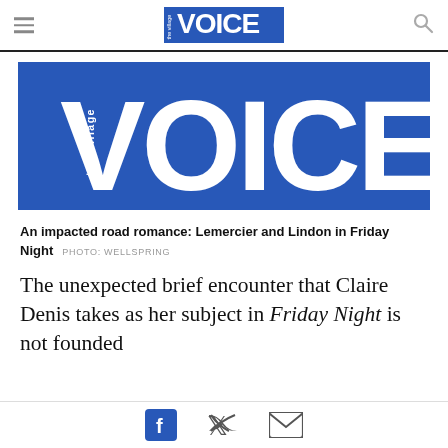the village VOICE (navigation header)
[Figure (logo): The Village Voice logo — large blue rectangle with 'the village' in small rotated white text on the left and 'VOICE' in large bold white letters]
An impacted road romance: Lemercier and Lindon in Friday Night   PHOTO: WELLSPRING
The unexpected brief encounter that Claire Denis takes as her subject in Friday Night is not founded
Social share icons: Facebook, Twitter, Email